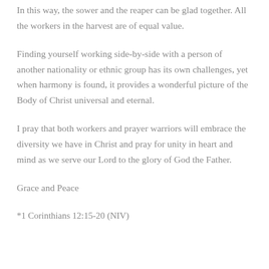In this way, the sower and the reaper can be glad together. All the workers in the harvest are of equal value.
Finding yourself working side-by-side with a person of another nationality or ethnic group has its own challenges, yet when harmony is found, it provides a wonderful picture of the Body of Christ universal and eternal.
I pray that both workers and prayer warriors will embrace the diversity we have in Christ and pray for unity in heart and mind as we serve our Lord to the glory of God the Father.
Grace and Peace
*1 Corinthians 12:15-20 (NIV)